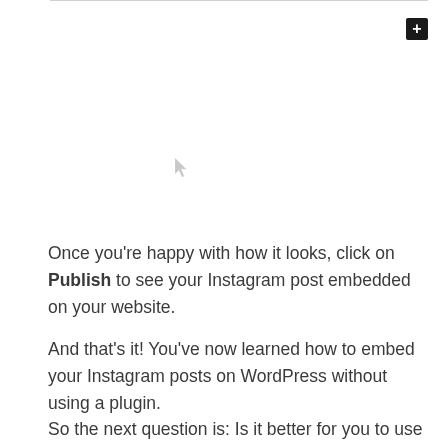[Figure (screenshot): A cursor icon visible in a blank white area of a WordPress editor, with a plus button (+) in the top right corner and a thin horizontal line at the top.]
Once you're happy with how it looks, click on Publish to see your Instagram post embedded on your website.
And that's it! You've now learned how to embed your Instagram posts on WordPress without using a plugin.
So the next question is: Is it better for you to use a plugin or not when adding your Instagram feed to your website?